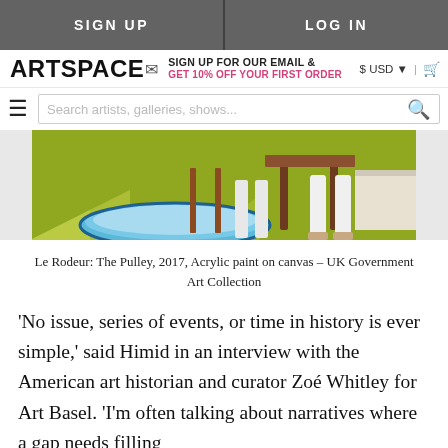SIGN UP | LOG IN
ARTSPACE — SIGN UP FOR OUR EMAIL & GET 10% OFF YOUR FIRST ORDER — $ USD | cart
Search artists, galleries, shows...
[Figure (illustration): Painting showing figures in a yellow-green interior scene with a blue oval pool/rug on the floor, mid-century modern furniture, and legs of figures visible.]
Le Rodeur: The Pulley, 2017, Acrylic paint on canvas – UK Government Art Collection
'No issue, series of events, or time in history is ever simple,' said Himid in an interview with the American art historian and curator Zoé Whitley for Art Basel. 'I'm often talking about narratives where a gap needs filling